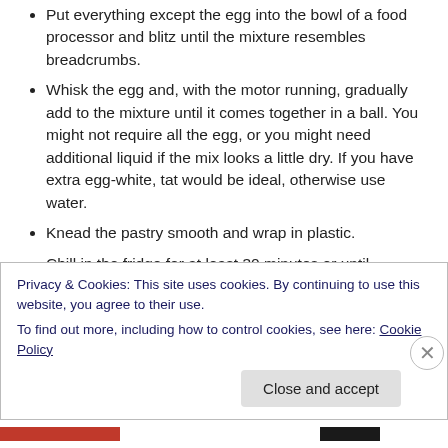Put everything except the egg into the bowl of a food processor and blitz until the mixture resembles breadcrumbs.
Whisk the egg and, with the motor running, gradually add to the mixture until it comes together in a ball. You might not require all the egg, or you might need additional liquid if the mix looks a little dry. If you have extra egg-white, tat would be ideal, otherwise use water.
Knead the pastry smooth and wrap in plastic.
Chill in the fridge for at least 30 minutes or until
Privacy & Cookies: This site uses cookies. By continuing to use this website, you agree to their use.
To find out more, including how to control cookies, see here: Cookie Policy